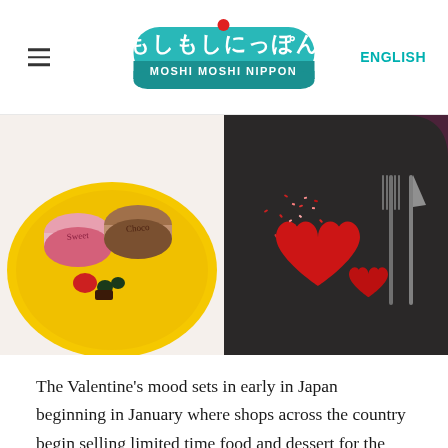MOSHI MOSHI NIPPON | ENGLISH
[Figure (photo): Two Valentine's themed macarons with handwritten text on a yellow plate with berries and chocolate pieces (left); red heart-shaped desserts with red sugar crystals, a fork and knife on dark background (right)]
The Valentine's mood sets in early in Japan beginning in January where shops across the country begin selling limited time food and dessert for the season of love. It can be tough picking out the right gift for Valentine's Day, but a meal or delicious treat is always a winner. And if you're in Japan, you have plenty of options.
Here's part one of our list of seasonal sweets you and your special someone can sink your teeth into this Valentine's Da